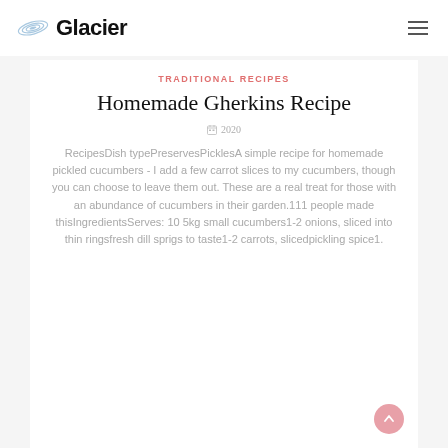Glacier
TRADITIONAL RECIPES
Homemade Gherkins Recipe
2020
RecipesDish typePreservesPicklesA simple recipe for homemade pickled cucumbers - I add a few carrot slices to my cucumbers, though you can choose to leave them out. These are a real treat for those with an abundance of cucumbers in their garden.111 people made thisIngredientsServes: 10 5kg small cucumbers1-2 onions, sliced into thin ringsfresh dill sprigs to taste1-2 carrots, slicedpickling spice1.